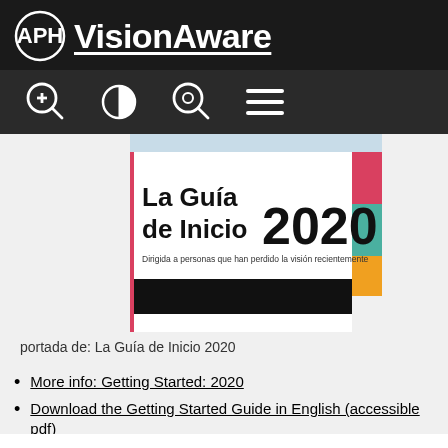APH VisionAware
[Figure (screenshot): Book cover: La Guía de Inicio 2020. Dirigida a personas que han perdido la visión recientemente]
portada de: La Guía de Inicio 2020
More info: Getting Started: 2020
Download the Getting Started Guide in English (accessible pdf)
Descargue la Guía de inicio en español (pdf accesible)